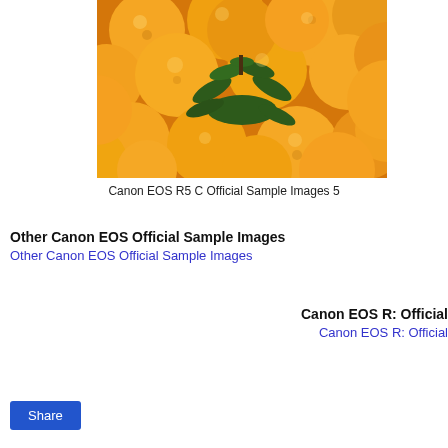[Figure (photo): A pile of orange mandarins/tangerines with green leaves visible in the center, photographed closely.]
Canon EOS R5 C Official Sample Images 5
Other Canon EOS Official Sample Images
Other Canon EOS Official Sample Images
Canon EOS R: Official
Canon EOS R: Official
Share